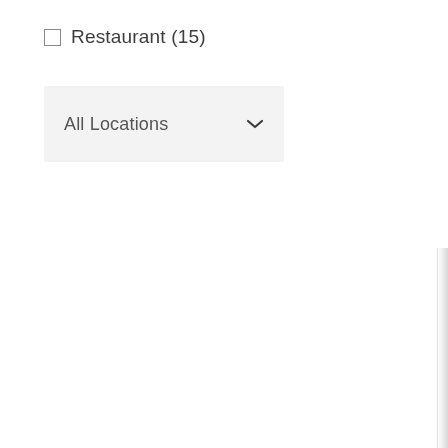Restaurant (15)
[Figure (screenshot): Dropdown selector showing 'All Locations' with a chevron/down arrow icon, on a light gray background]